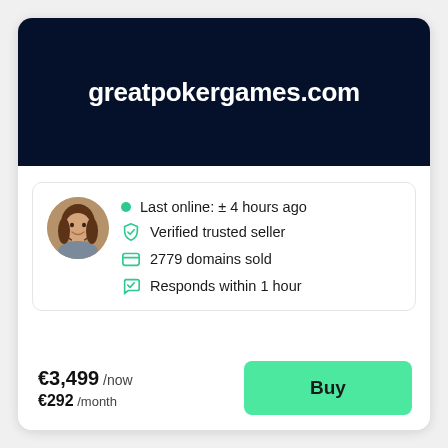greatpokergames.com
[Figure (photo): Circular avatar photo of a woman with long brown hair, smiling]
Last online: ± 4 hours ago
Verified trusted seller
2779 domains sold
Responds within 1 hour
€3,499 /now
€292 /month
Buy